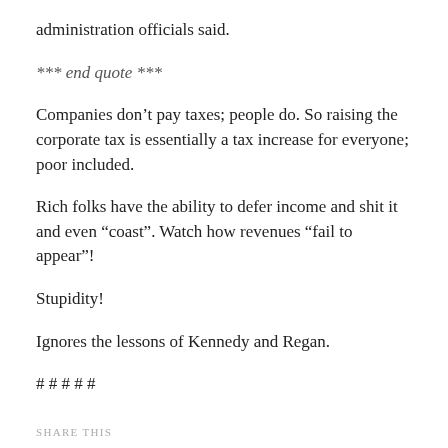administration officials said.
*** end quote ***
Companies don’t pay taxes; people do. So raising the corporate tax is essentially a tax increase for everyone; poor included.
Rich folks have the ability to defer income and shit it and even “coast”. Watch how revenues “fail to appear”!
Stupidity!
Ignores the lessons of Kennedy and Regan.
# # # # #
SHARE THIS